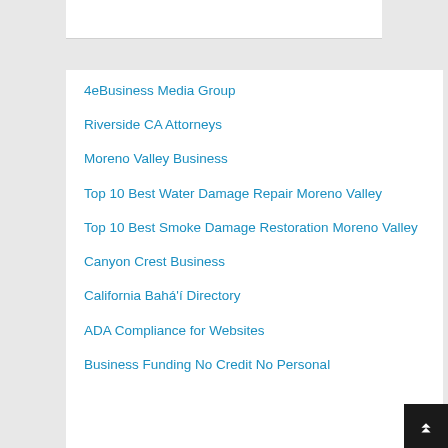4eBusiness Media Group
Riverside CA Attorneys
Moreno Valley Business
Top 10 Best Water Damage Repair Moreno Valley
Top 10 Best Smoke Damage Restoration Moreno Valley
Canyon Crest Business
California Bahá'í Directory
ADA Compliance for Websites
Business Funding No Credit No Personal